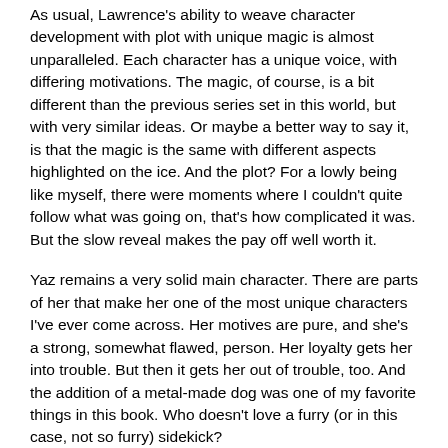As usual, Lawrence's ability to weave character development with plot with unique magic is almost unparalleled. Each character has a unique voice, with differing motivations. The magic, of course, is a bit different than the previous series set in this world, but with very similar ideas. Or maybe a better way to say it, is that the magic is the same with different aspects highlighted on the ice. And the plot? For a lowly being like myself, there were moments where I couldn't quite follow what was going on, that's how complicated it was. But the slow reveal makes the pay off well worth it.
Yaz remains a very solid main character. There are parts of her that make her one of the most unique characters I've ever come across. Her motives are pure, and she's a strong, somewhat flawed, person. Her loyalty gets her into trouble. But then it gets her out of trouble, too. And the addition of a metal-made dog was one of my favorite things in this book. Who doesn't love a furry (or in this case, not so furry) sidekick?
The themes of friendship, loyalty, and making hard choices will be familiar friends to fans of Lawrence's work. No one does it